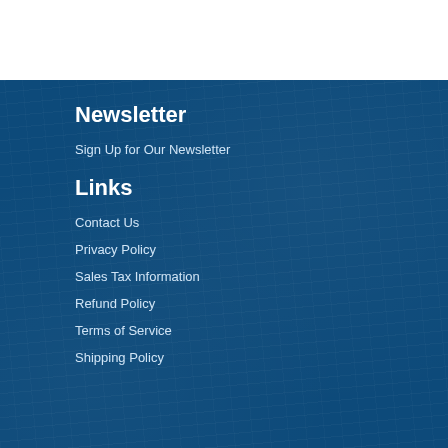Newsletter
Sign Up for Our Newsletter
Links
Contact Us
Privacy Policy
Sales Tax Information
Refund Policy
Terms of Service
Shipping Policy